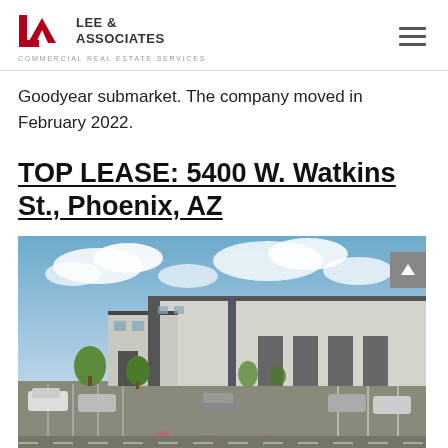Lee & Associates | Commercial Real Estate Services
Goodyear submarket. The company moved in February 2022.
TOP LEASE: 5400 W. Watkins St., Phoenix, AZ
[Figure (photo): Exterior rendering of a large industrial/warehouse building at 5400 W. Watkins St., Phoenix, AZ with cars parked in front and desert landscaping.]